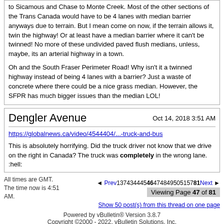to Sicamous and Chase to Monte Creek. Most of the other sections of the Trans Canada would have to be 4 lanes with median barrier anyways due to terrain. But I mean come on now, if the terrain allows it, twin the highway! Or at least have a median barrier where it can't be twinned! No more of these undivided paved flush medians, unless, maybe, its an arterial highway in a town.

Oh and the South Fraser Perimeter Road! Why isn't it a twinned highway instead of being 4 lanes with a barrier? Just a waste of concrete where there could be a nice grass median. However, the SFPR has much bigger issues than the median LOL!
Dengler Avenue
Oct 14, 2018 3:51 AM
https://globalnews.ca/video/4544404/...-truck-and-bus
This is absolutely horrifying. Did the truck driver not know that we drive on the right in Canada? The truck was completely in the wrong lane. :hell:
All times are GMT. The time now is 4:51 AM.
◄ Prev 137 434 445 46 474 849 505 157 81 Next ►
Viewing Page 47 of 81
Show 50 post(s) from this thread on one page
Powered by vBulletin® Version 3.8.7
Copyright ©2000 - 2022, vBulletin Solutions, Inc.